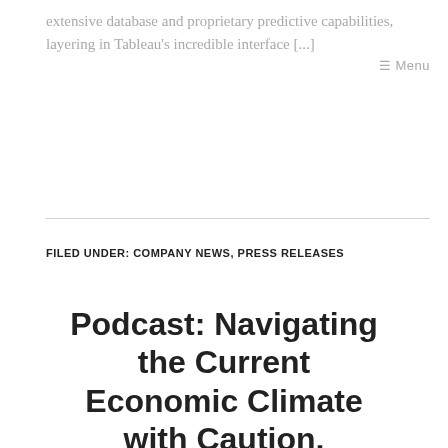extensive database and proprietary predictive capabilities, layering in Tableau's incredible interface [...]
☰ Menu
FILED UNDER: COMPANY NEWS, PRESS RELEASES
Podcast: Navigating the Current Economic Climate with Caution, Discipline &